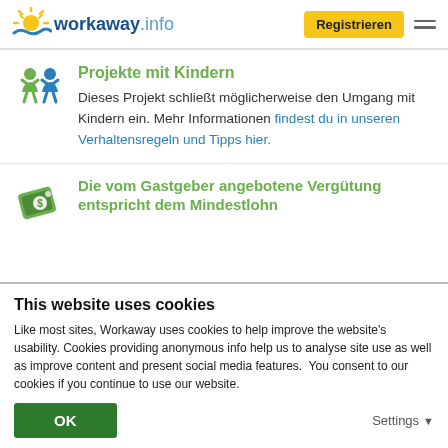[Figure (logo): Workaway.info logo with sun/wave graphic]
Projekte mit Kindern
Dieses Projekt schließt möglicherweise den Umgang mit Kindern ein. Mehr Informationen findest du in unseren Verhaltensregeln und Tipps hier.
Die vom Gastgeber angebotene Vergütung entspricht dem Mindestlohn
This website uses cookies
Like most sites, Workaway uses cookies to help improve the website's usability. Cookies providing anonymous info help us to analyse site use as well as improve content and present social media features.  You consent to our cookies if you continue to use our website.